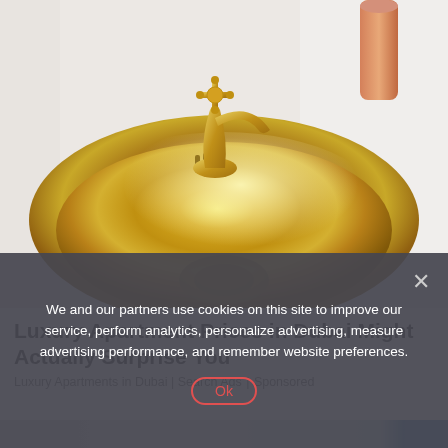[Figure (photo): A round gold/brass kitchen sink basin with a gold cross-handle faucet tap, set into a white countertop surface. A copper pipe is partially visible in the upper right corner.]
Luxury Apartment Prices in Dubai Might Actually Surprise You
Luxury Apartments in Dubai | Search Ads | Sponsored
We and our partners use cookies on this site to improve our service, perform analytics, personalize advertising, measure advertising performance, and remember website preferences.
Ok